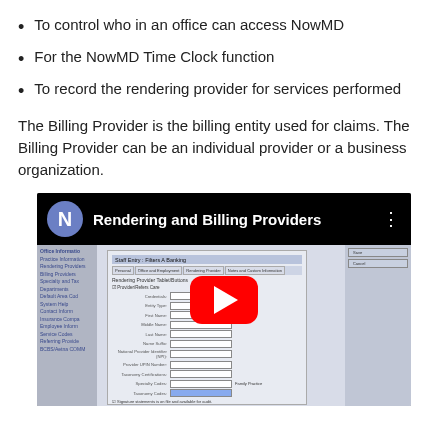To control who in an office can access NowMD
For the NowMD Time Clock function
To record the rendering provider for services performed
The Billing Provider is the billing entity used for claims. The Billing Provider can be an individual provider or a business organization.
[Figure (screenshot): YouTube video thumbnail showing 'Rendering and Billing Providers' with a channel icon 'N', play button overlay, and a screenshot of NowMD software showing a Staff Entry dialog with Rendering Provider tab open.]